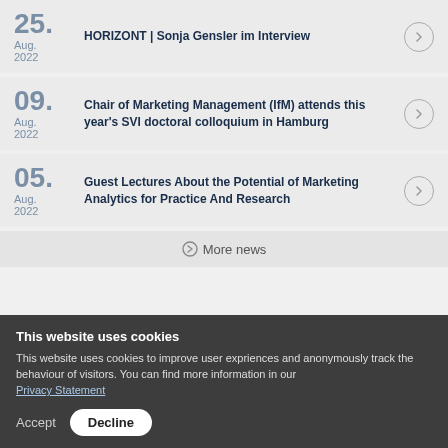25. Aug. 2022 — HORIZONT | Sonja Gensler im Interview
09. Aug. 2022 — Chair of Marketing Management (IfM) attends this year's SVI doctoral colloquium in Hamburg
05. Aug. 2022 — Guest Lectures About the Potential of Marketing Analytics for Practice And Research
More news
This website uses cookies
This website uses cookies to improve user expriences and anonymously track the behaviour of visitors. You can find more information in our Privacy Statement
Accept  Decline